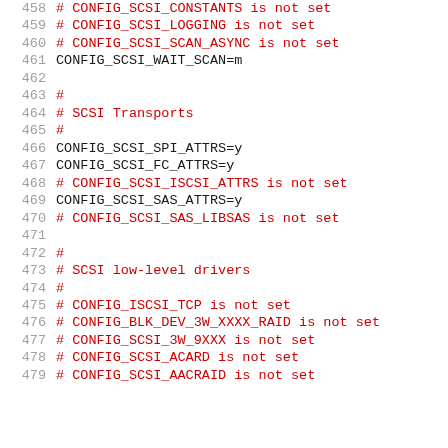458  # CONFIG_SCSI_CONSTANTS is not set
459  # CONFIG_SCSI_LOGGING is not set
460  # CONFIG_SCSI_SCAN_ASYNC is not set
461  CONFIG_SCSI_WAIT_SCAN=m
462
463  #
464  # SCSI Transports
465  #
466  CONFIG_SCSI_SPI_ATTRS=y
467  CONFIG_SCSI_FC_ATTRS=y
468  # CONFIG_SCSI_ISCSI_ATTRS is not set
469  CONFIG_SCSI_SAS_ATTRS=y
470  # CONFIG_SCSI_SAS_LIBSAS is not set
471
472  #
473  # SCSI low-level drivers
474  #
475  # CONFIG_ISCSI_TCP is not set
476  # CONFIG_BLK_DEV_3W_XXXX_RAID is not set
477  # CONFIG_SCSI_3W_9XXX is not set
478  # CONFIG_SCSI_ACARD is not set
479  # CONFIG_SCSI_AACRAID is not set